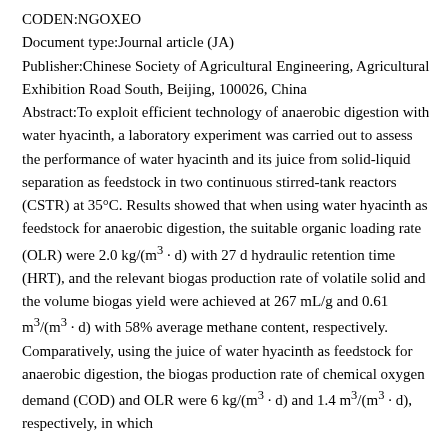CODEN:NGOXEO
Document type:Journal article (JA)
Publisher:Chinese Society of Agricultural Engineering, Agricultural Exhibition Road South, Beijing, 100026, China
Abstract:To exploit efficient technology of anaerobic digestion with water hyacinth, a laboratory experiment was carried out to assess the performance of water hyacinth and its juice from solid-liquid separation as feedstock in two continuous stirred-tank reactors (CSTR) at 35°C. Results showed that when using water hyacinth as feedstock for anaerobic digestion, the suitable organic loading rate (OLR) were 2.0 kg/(m3 ·d) with 27 d hydraulic retention time (HRT), and the relevant biogas production rate of volatile solid and the volume biogas yield were achieved at 267 mL/g and 0.61 m3/(m3 ·d) with 58% average methane content, respectively. Comparatively, using the juice of water hyacinth as feedstock for anaerobic digestion, the biogas production rate of chemical oxygen demand (COD) and OLR were 6 kg/(m3 ·d) and 1.4 m3/(m3 ·d), respectively, in which